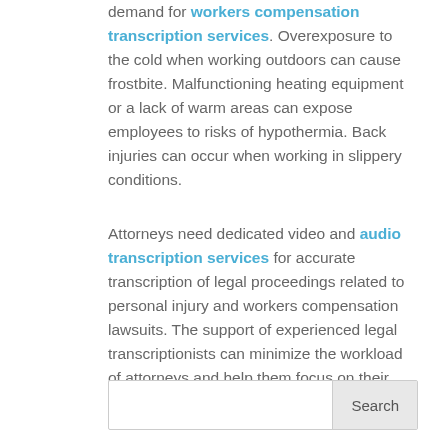demand for workers compensation transcription services. Overexposure to the cold when working outdoors can cause frostbite. Malfunctioning heating equipment or a lack of warm areas can expose employees to risks of hypothermia. Back injuries can occur when working in slippery conditions.
Attorneys need dedicated video and audio transcription services for accurate transcription of legal proceedings related to personal injury and workers compensation lawsuits. The support of experienced legal transcriptionists can minimize the workload of attorneys and help them focus on their main tasks more efficiently.